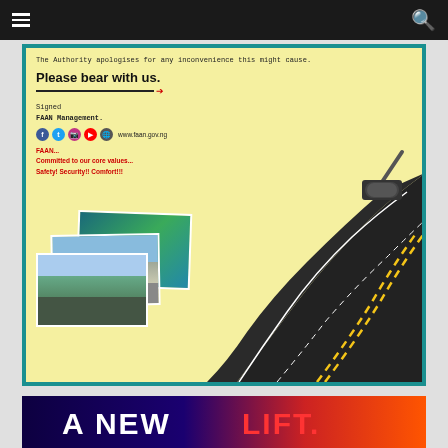Navigation bar with hamburger menu and search icon
[Figure (infographic): FAAN (Federal Airports Authority of Nigeria) public notice infographic on yellow background with teal border. Contains apology text, 'Please bear with us.' heading with red arrow underline, signed by FAAN Management, social media icons, website www.faan.gov.ng, red tagline 'FAAN... Committed to our core values... Safety! Security!! Comfort!!!', three airport photos stacked, and a paint roller rolling out a highway road illustration.]
The Authority apologises for any inconvenience this might cause.
Please bear with us.
Signed
FAAN Management.
www.faan.gov.ng
FAAN... Committed to our core values... Safety! Security!! Comfort!!!
[Figure (infographic): Bottom banner showing 'A NEW LIFT.' text in white and red on a dark blue/purple to red gradient background.]